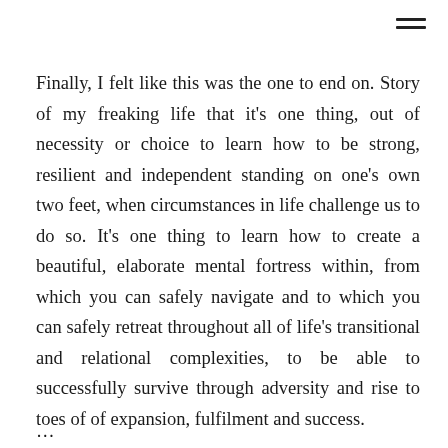≡
Finally, I felt like this was the one to end on. Story of my freaking life that it's one thing, out of necessity or choice to learn how to be strong, resilient and independent standing on one's own two feet, when circumstances in life challenge us to do so. It's one thing to learn how to create a beautiful, elaborate mental fortress within, from which you can safely navigate and to which you can safely retreat throughout all of life's transitional and relational complexities, to be able to successfully survive through adversity and rise to toes of of expansion, fulfilment and success.
…(partial line continues)…